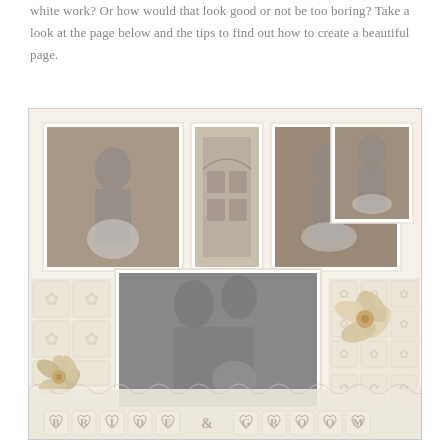white work? Or how would that look good or not be too boring? Take a look at the page below and the tips to find out how to create a beautiful page.
[Figure (photo): A scrapbook layout page featuring multiple black-and-white wedding photos of a bride and groom arranged on a cream/ivory decorative patterned background with floral embellishments and a 'BRIDE & GROOM' banner at the bottom made of heart-shaped letter tiles.]